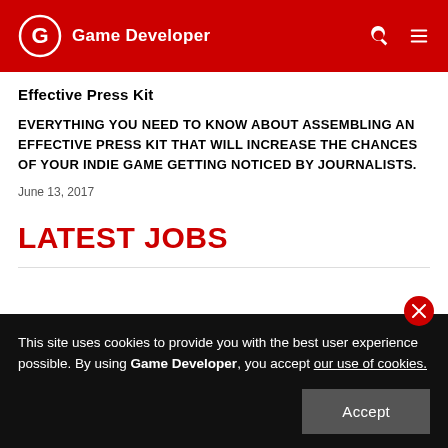Game Developer
Effective Press Kit
EVERYTHING YOU NEED TO KNOW ABOUT ASSEMBLING AN EFFECTIVE PRESS KIT THAT WILL INCREASE THE CHANCES OF YOUR INDIE GAME GETTING NOTICED BY JOURNALISTS.
June 13, 2017
LATEST JOBS
This site uses cookies to provide you with the best user experience possible. By using Game Developer, you accept our use of cookies.